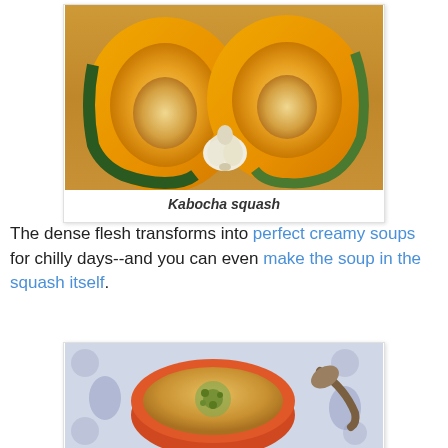[Figure (photo): Kabocha squash cut in half showing orange-yellow flesh and seeds, with a garlic bulb in the center, on a wooden cutting board]
Kabocha squash
The dense flesh transforms into perfect creamy soups for chilly days--and you can even make the soup in the squash itself.
[Figure (photo): Creamy soup served inside a round squash bowl, garnished with herbs, on a decorative blue and white plate with a spoon]